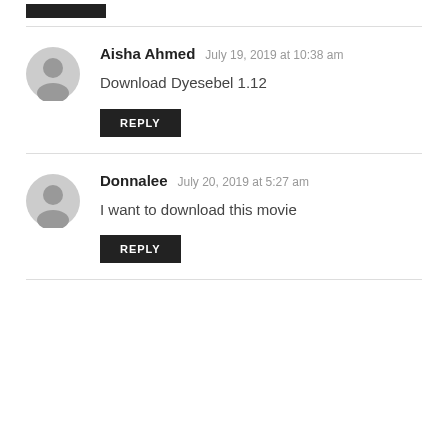Aisha Ahmed   July 19, 2019 at 10:38 am
Download Dyesebel 1.12
Donnalee   July 20, 2019 at 5:27 am
I want to download this movie